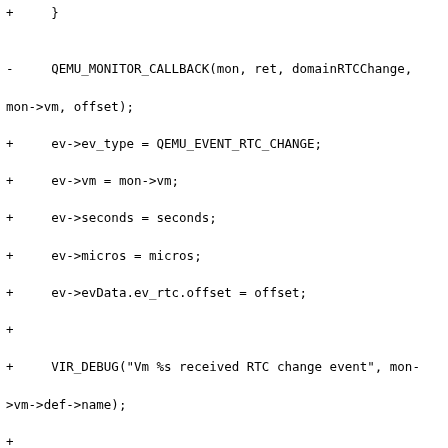[Figure (other): Code diff showing changes to QEMU monitor RTC and watchdog functions in C source code]